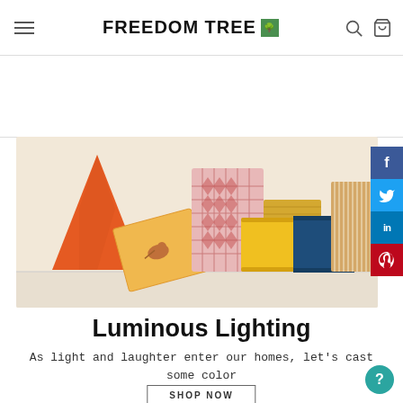FREEDOM TREE [logo]
[Figure (photo): Collection of colorful lamp shades including orange cone, patterned pink, yellow drum, navy blue, and tan striped shades arranged on a shelf with warm beige background]
Luminous Lighting
As light and laughter enter our homes, let's cast some color
SHOP NOW